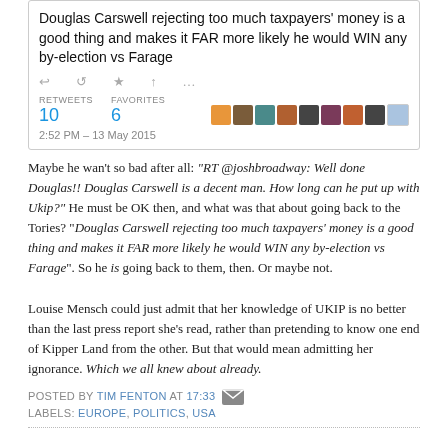[Figure (screenshot): Tweet screenshot showing tweet text about Douglas Carswell rejecting too much taxpayers' money being a good thing and making it FAR more likely he would WIN any by-election vs Farage. Shows 10 retweets, 6 favorites, dated 2:52 PM - 13 May 2015.]
Maybe he wan't so bad after all: "RT @joshbroadway: Well done Douglas!! Douglas Carswell is a decent man. How long can he put up with Ukip?" He must be OK then, and what was that about going back to the Tories? "Douglas Carswell rejecting too much taxpayers' money is a good thing and makes it FAR more likely he would WIN any by-election vs Farage". So he is going back to them, then. Or maybe not.

Louise Mensch could just admit that her knowledge of UKIP is no better than the last press report she's read, rather than pretending to know one end of Kipper Land from the other. But that would mean admitting her ignorance. Which we all knew about already.
POSTED BY TIM FENTON AT 17:33  [email icon]
LABELS: EUROPE, POLITICS, USA